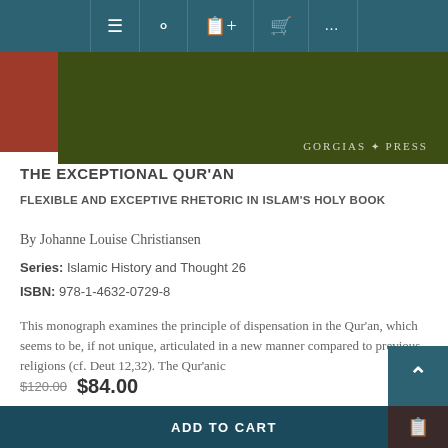[Figure (screenshot): Website navigation bar with menu, search, wishlist, cart, and more icons on teal background]
[Figure (photo): Book cover with red and dark olive green panels; Gorgias Press publisher logo at bottom right]
THE EXCEPTIONAL QUR'AN
FLEXIBLE AND EXCEPTIVE RHETORIC IN ISLAM'S HOLY BOOK
By Johanne Louise Christiansen
Series: Islamic History and Thought 26
ISBN: 978-1-4632-0729-8
This monograph examines the principle of dispensation in the Qur'an, which seems to be, if not unique, articulated in a new manner compared to previous religions (cf. Deut 12,32). The Qur'anic
$120.00  $84.00
ADD TO CART